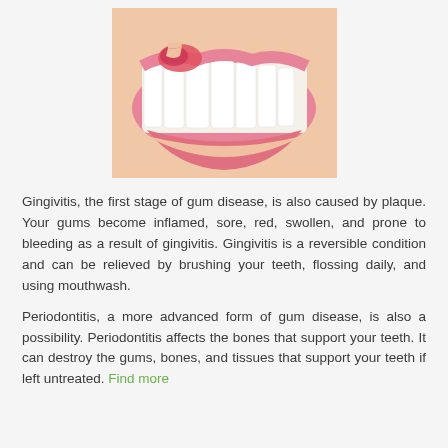[Figure (photo): Close-up photo of a smiling mouth showing white teeth and pink gums, with a finger pointing to inflamed/red gum tissue on the upper left area.]
Gingivitis, the first stage of gum disease, is also caused by plaque. Your gums become inflamed, sore, red, swollen, and prone to bleeding as a result of gingivitis. Gingivitis is a reversible condition and can be relieved by brushing your teeth, flossing daily, and using mouthwash.
Periodontitis, a more advanced form of gum disease, is also a possibility. Periodontitis affects the bones that support your teeth. It can destroy the gums, bones, and tissues that support your teeth if left untreated. Find more